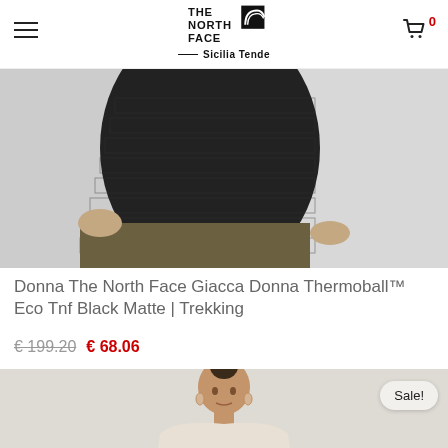THE NORTH FACE — Sicilia Tende
[Figure (photo): Close-up photo of a woman wearing a black quilted Thermoball jacket with olive/khaki leggings, cropped view showing torso and hands, on a light grey background.]
Donna The North Face Giacca Donna Thermoball™ Eco Tnf Black Matte | Trekking
€ 199.20  € 68.06
[Figure (photo): Photo of a woman in a beige/cream athletic top, visible from shoulders up, on a light background, with a Sale! badge in the top right corner.]